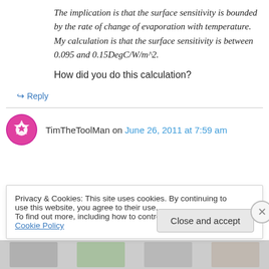The implication is that the surface sensitivity is bounded by the rate of change of evaporation with temperature. My calculation is that the surface sensitivity is between 0.095 and 0.15DegC/W/m^2.
How did you do this calculation?
↪ Reply
TimTheToolMan on June 26, 2011 at 7:59 am
Privacy & Cookies: This site uses cookies. By continuing to use this website, you agree to their use.
To find out more, including how to control cookies, see here: Cookie Policy